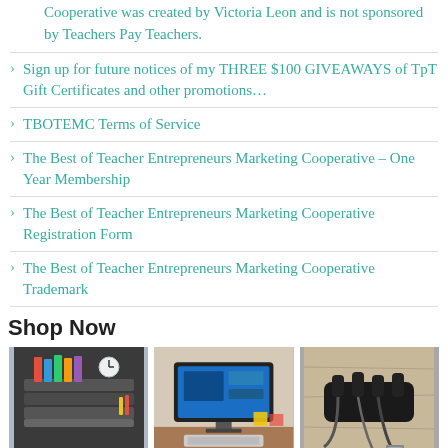Cooperative was created by Victoria Leon and is not sponsored by Teachers Pay Teachers.
Sign up for future notices of my THREE $100 GIVEAWAYS of TpT Gift Certificates and other promotions…
TBOTEMC Terms of Service
The Best of Teacher Entrepreneurs Marketing Cooperative – One Year Membership
The Best of Teacher Entrepreneurs Marketing Cooperative Registration Form
The Best of Teacher Entrepreneurs Marketing Cooperative Trademark
Shop Now
[Figure (photo): Black mesh desk organizer with colorful files, clock, and supplies]
[Figure (photo): Computer monitor setup on a desk with keyboard and sticky notes]
[Figure (photo): Black cable organizer clips with USB cables on a wooden surface]